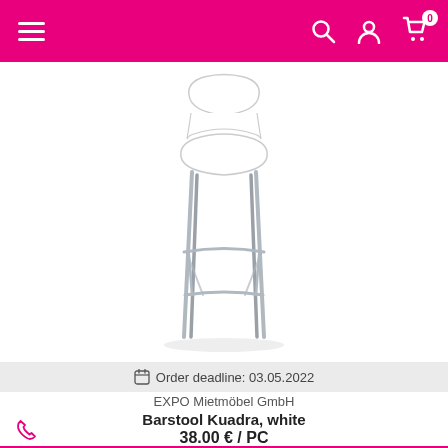Navigation bar with hamburger menu, search, account, and cart icons
[Figure (photo): White barstool Kuadra with chrome metal legs and white plastic seat/back shell, shown on white background]
Order deadline: 03.05.2022
EXPO Mietmöbel GmbH
Barstool Kuadra, white
38.00 € / PC